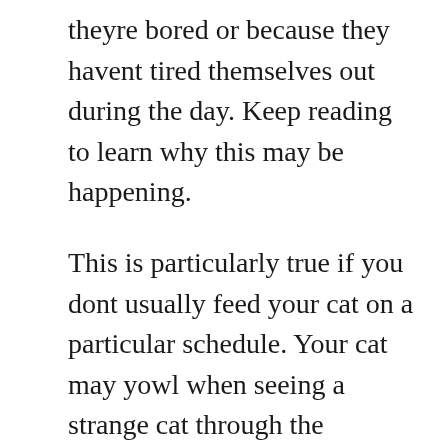theyre bored or because they havent tired themselves out during the day. Keep reading to learn why this may be happening.
This is particularly true if you dont usually feed your cat on a particular schedule. Your cat may yowl when seeing a strange cat through the window. Females yowl to advertise their receptivity to males and males yowl to gain access to females.
Feline cognitive dysfunction FCD otherwise referred to as cat dementia is when older cats begin to experience changes in awareness and